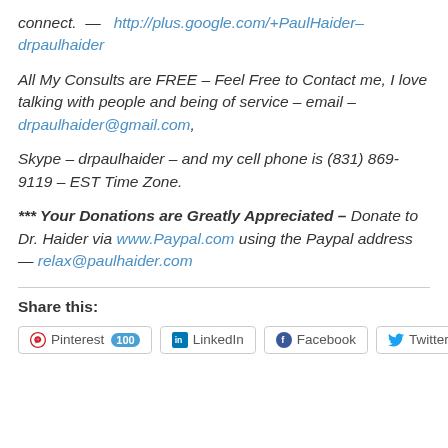connect.  —  http://plus.google.com/+PaulHaider–drpaulhaider
All My Consults are FREE – Feel Free to Contact me, I love talking with people and being of service – email – drpaulhaider@gmail.com,
Skype – drpaulhaider – and my cell phone is (831) 869-9119 – EST Time Zone.
*** Your Donations are Greatly Appreciated – Donate to Dr. Haider via www.Paypal.com using the Paypal address — relax@paulhaider.com
Share this:
Pinterest 100  LinkedIn  Facebook  Twitter